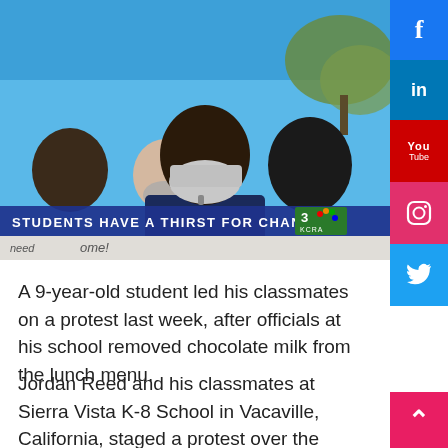[Figure (photo): A group of children wearing face masks outdoors, with a blue sky in the background. A news broadcast banner reads 'STUDENTS HAVE A THIRST FOR CHANGE' with the KCRA 3 NBC logo.]
A 9-year-old student led his classmates on a protest last week, after officials at his school removed chocolate milk from the lunch menu.
Jordan Reed and his classmates at Sierra Vista K-8 School in Vacaville, California, staged a protest over the 2020 decision to remove